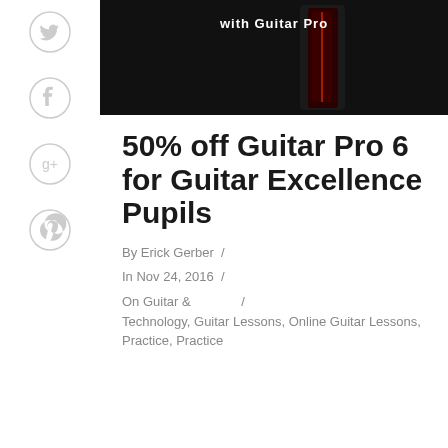[Figure (photo): Dark promotional banner image for Guitar Pro 6 with text and product image]
50% off Guitar Pro 6 for Guitar Excellence Pupils
By Erick Gerber /
In Nov 24, 2016 /
On Guitar & Technology, Guitar Lessons, Online Guitar Lessons, Practice, Practice